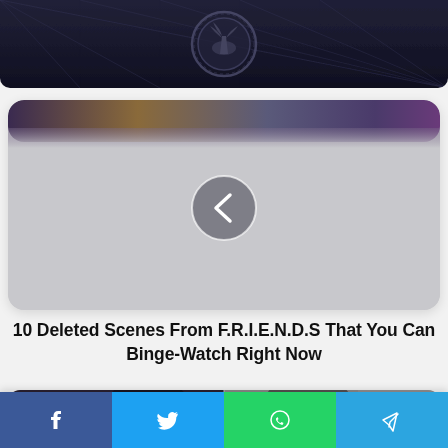[Figure (photo): Dark image showing a circular emblem/seal (Reserve Bank of India) with grid lines overlay]
[Figure (screenshot): Gray slider card with a left-chevron navigation button in the center, partially showing a colorful image strip at the top]
10 Deleted Scenes From F.R.I.E.N.D.S That You Can Binge-Watch Right Now
[Figure (photo): Split image showing two people's faces (partial), left side darker tones, right side lighter]
[Figure (infographic): Social share bar with Facebook, Twitter, WhatsApp, and Telegram buttons]